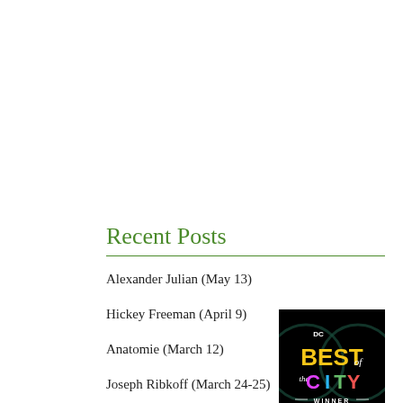Recent Posts
Alexander Julian (May 13)
Hickey Freeman (April 9)
Anatomie (March 12)
Joseph Ribkoff (March 24-25)
[Figure (logo): DC Best of the City Winner badge with colorful text on black background]